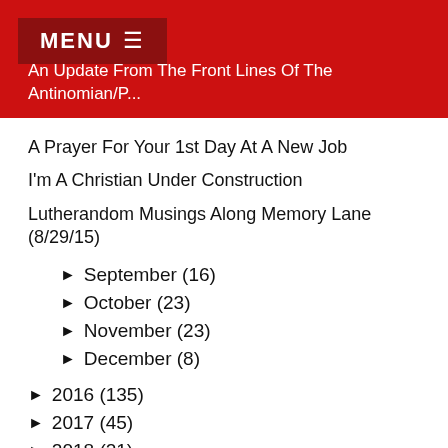MENU ☰
An Update From The Front Lines Of The Antinomian/P...
A Prayer For Your 1st Day At A New Job
I'm A Christian Under Construction
Lutherandom Musings Along Memory Lane (8/29/15)
► September (16)
► October (23)
► November (23)
► December (8)
► 2016 (135)
► 2017 (45)
► 2018 (21)
► 2019 (14)
► 2020 (22)